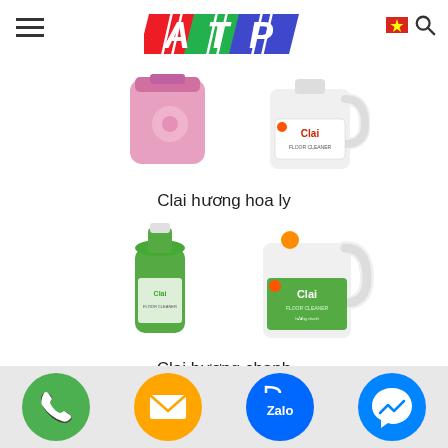[Figure (logo): ATP logo with colorful letters A (red), T (green), P (blue) on diagonal colored background]
[Figure (photo): Two cleaning product bottles - pink bottle on left, white Clai floor cleaner jug on right (lily fragrance)]
Clai hương hoa ly
[Figure (photo): Two green Clai cleaning product bottles - slim green bottle on left, large green Clai floor cleaner jug on right (lemon fragrance)]
Clai hương chanh
[Figure (infographic): Footer contact bar with four circular icons: green phone, orange email, blue Zalo, blue Messenger]